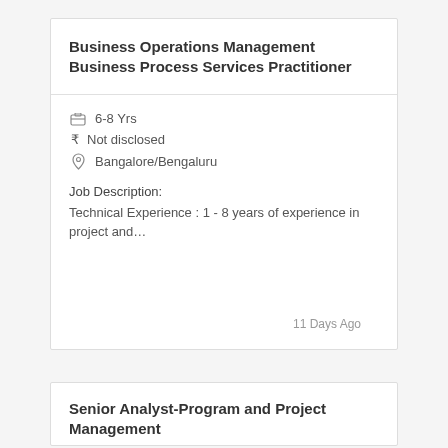Business Operations Management Business Process Services Practitioner
6-8 Yrs
Not disclosed
Bangalore/Bengaluru
Job Description:
Technical Experience : 1 - 8 years of experience in project and…
11 Days Ago
Senior Analyst-Program and Project Management